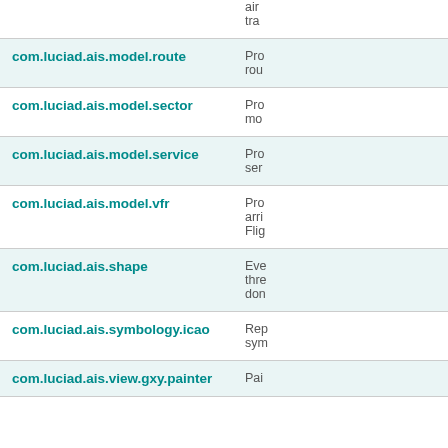| Package | Description |
| --- | --- |
| com.luciad.ais.model.route | Pro
rou |
| com.luciad.ais.model.sector | Pro
mo |
| com.luciad.ais.model.service | Pro
ser |
| com.luciad.ais.model.vfr | Pro
arri
Flig |
| com.luciad.ais.shape | Eve
thre
don |
| com.luciad.ais.symbology.icao | Rep
sym |
| com.luciad.ais.view.gxy.painter | Pai |